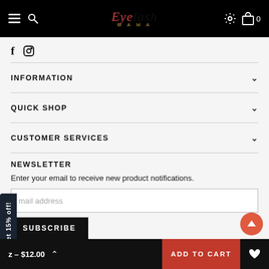EyeLash MAMA
[Figure (screenshot): Social media icons: Facebook (f) and Instagram]
INFORMATION
QUICK SHOP
CUSTOMER SERVICES
NEWSLETTER
Enter your email to receive new product notifications.
mail address
SUBSCRIBE
Get 15% off!
z – $12.00  ADD TO CART